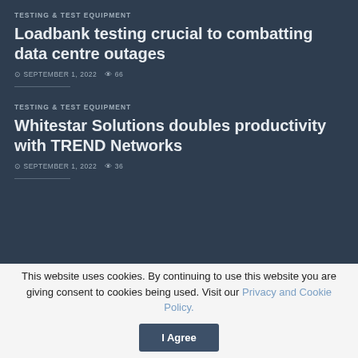TESTING & TEST EQUIPMENT
Loadbank testing crucial to combatting data centre outages
SEPTEMBER 1, 2022   66
TESTING & TEST EQUIPMENT
Whitestar Solutions doubles productivity with TREND Networks
SEPTEMBER 1, 2022   36
This website uses cookies. By continuing to use this website you are giving consent to cookies being used. Visit our Privacy and Cookie Policy.